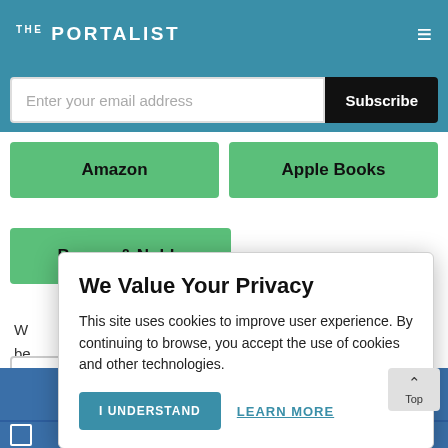THE PORTALIST
Enter your email address
Subscribe
Amazon
Apple Books
Barnes & Noble
We Value Your Privacy
This site uses cookies to improve user experience. By continuing to browse, you accept the use of cookies and other technologies.
I UNDERSTAND
LEARN MORE
Subscribe